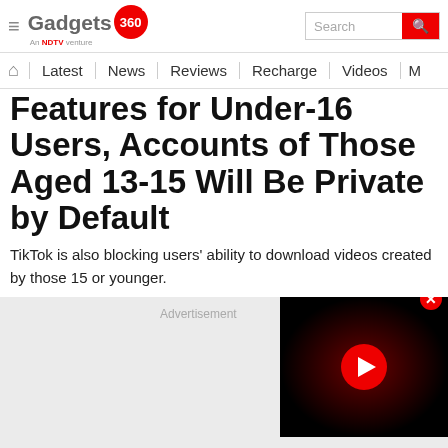Gadgets 360 - An NDTV venture
Features for Under-16 Users, Accounts of Those Aged 13-15 Will Be Private by Default
TikTok is also blocking users' ability to download videos created by those 15 or younger.
[Figure (screenshot): Advertisement placeholder with video thumbnail showing red play button on dark background with close button]